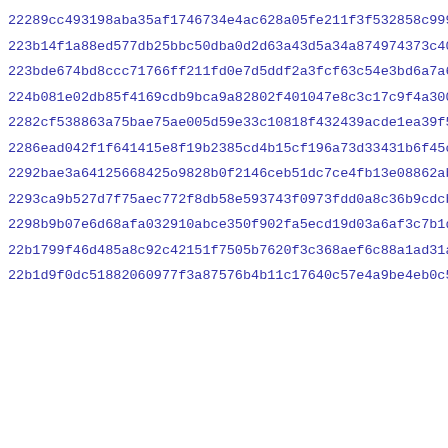22289cc493198aba35af1746734e4ac628a05fe211f3f532858c9993db40e
223b14f1a88ed577db25bbc50dba0d2d63a43d5a34a874974373c408a1736
223bde674bd8ccc71766ff211fd0e7d5ddf2a3fcf63c54e3bd6a7a6327d4b
224b081e02db85f4169cdb9bca9a82802f401047e8c3c17c9f4a30086f0b0
2282cf538863a75bae75ae005d59e33c10818f432439acde1ea39f5056e92
2286ead042f1f641415e8f19b2385cd4b15cf196a73d33431b6f45ca04f07
2292bae3a64125668425o9828b0f2146ceb51dc7ce4fb13e08862ab8005b2
2293ca9b527d7f75aec772f8db58e593743f0973fdd0a8c36b9cdcb881e2b
2298b9b07e6d68afa032910abce350f902fa5ecd19d03a6af3c7b1da15afa
22b1799f46d485a8c92c42151f7505b7620f3c368aef6c88a1ad31a92a374
22b1d9f0dc51882060977f3a87576b4b11c17640c57e4a9be4eb0c5cb9d2e